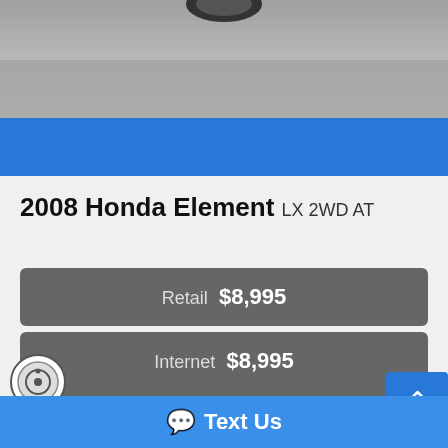[Figure (photo): Partial photo of a vehicle on asphalt, showing lower portion/wheel area of a 2008 Honda Element]
2008 Honda Element LX 2WD AT
Retail $8,995
Internet $8,995
916-451-2277
Inquiry
Text Us